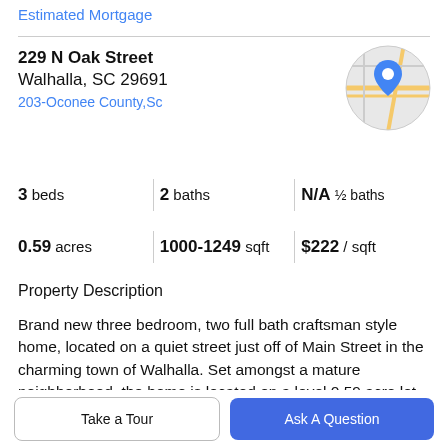Estimated Mortgage
229 N Oak Street
Walhalla, SC 29691
203-Oconee County,Sc
[Figure (map): Circular map thumbnail showing street map with blue location pin marker for 229 N Oak Street, Walhalla SC]
3 beds   |   2 baths   |   N/A ½ baths
0.59 acres   |   1000-1249 sqft   |   $222 / sqft
Property Description
Brand new three bedroom, two full bath craftsman style home, located on a quiet street just off of Main Street in the charming town of Walhalla. Set amongst a mature neighborhood, the home is located on a level 0.59 acre lot
with a huge backyard! The home features a built-in kitchen
Take a Tour
Ask A Question